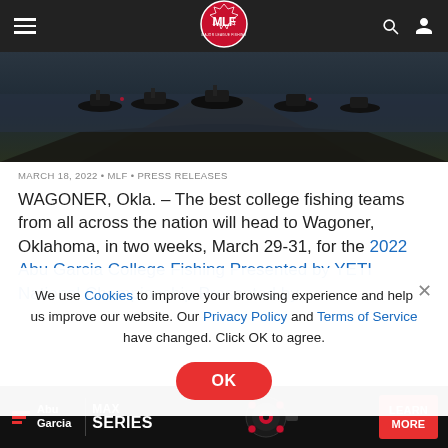MLF navigation bar with hamburger menu, MLF logo, search and user icons
[Figure (photo): Dark photo of fishing boats lined up at a boat ramp near water, viewed from behind]
MARCH 18, 2022 • MLF • PRESS RELEASES
WAGONER, Okla. – The best college fishing teams from all across the nation will head to Wagoner, Oklahoma, in two weeks, March 29-31, for the 2022 Abu Garcia College Fishing Presented by YETI National Championship Presented by
We use Cookies to improve your browsing experience and help us improve our website. Our Privacy Policy and Terms of Service have changed. Click OK to agree.
[Figure (screenshot): Abu Garcia MAX SERIES advertisement banner with red and black branding and LEARN MORE button]